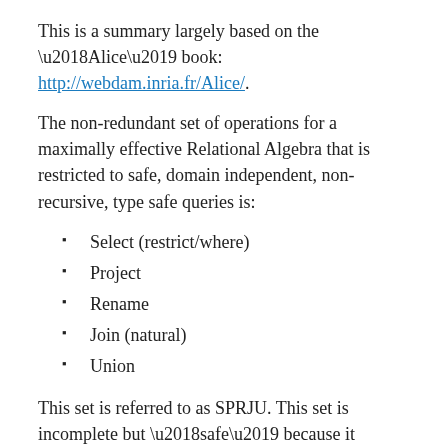This is a summary largely based on the ‘Alice’ book: http://webdam.inria.fr/Alice/.
The non-redundant set of operations for a maximally effective Relational Algebra that is restricted to safe, domain independent, non-recursive, type safe queries is:
Select (restrict/where)
Project
Rename
Join (natural)
Union
This set is referred to as SPRJU. This set is incomplete but ‘safe’ because it excludes negation. It can be completed by adding:
Minus (set difference).